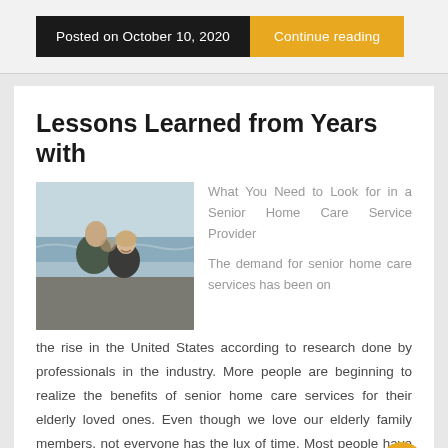Posted on October 10, 2020
Continue reading
Lessons Learned from Years with
[Figure (photo): An elderly man kissing a smiling woman on the cheek outdoors near a beach]
What You Need to Look for in a Senior Home Care Service Provider
The demand for senior home care services has been on the rise in the United States according to research done by professionals in the industry. More people are beginning to realize the benefits of senior home care services for their elderly loved ones. Even though we love our elderly family members, not everyone has the lux of time. Most people have to spend their days working